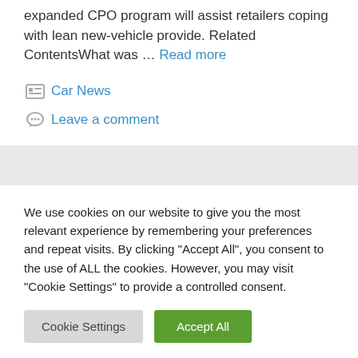expanded CPO program will assist retailers coping with lean new-vehicle provide. Related ContentsWhat was … Read more
Car News
Leave a comment
We use cookies on our website to give you the most relevant experience by remembering your preferences and repeat visits. By clicking "Accept All", you consent to the use of ALL the cookies. However, you may visit "Cookie Settings" to provide a controlled consent.